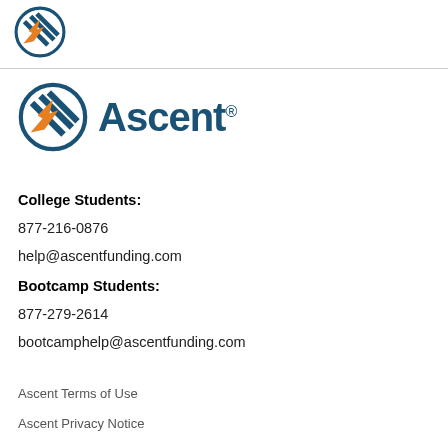[Figure (logo): Ascent logo with rocket icon and 'Ascent' wordmark in dark blue]
College Students:
877-216-0876
help@ascentfunding.com
Bootcamp Students:
877-279-2614
bootcamphelp@ascentfunding.com
Ascent Terms of Use
Ascent Privacy Notice